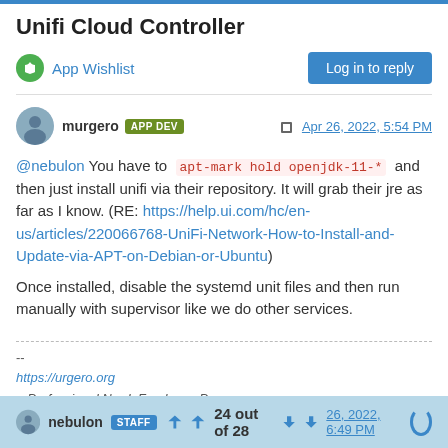Unifi Cloud Controller
App Wishlist
Log in to reply
murgero APP DEV  Apr 26, 2022, 5:54 PM
@nebulon You have to apt-mark hold openjdk-11-* and then just install unifi via their repository. It will grab their jre as far as I know. (RE: https://help.ui.com/hc/en-us/articles/220066768-UniFi-Network-How-to-Install-and-Update-via-APT-on-Debian-or-Ubuntu)
Once installed, disable the systemd unit files and then run manually with supervisor like we do other services.
--
https://urgero.org
~ Professional Nerd. Freelance Programmer. ~
1 Reply >  0
nebulon STAFF  24 out of 28  26, 2022, 6:49 PM